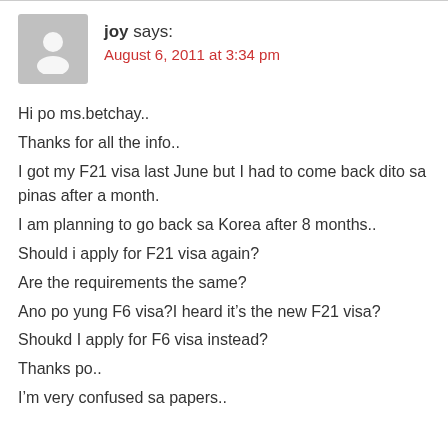joy says:
August 6, 2011 at 3:34 pm
Hi po ms.betchay..
Thanks for all the info..
I got my F21 visa last June but I had to come back dito sa pinas after a month.
I am planning to go back sa Korea after 8 months..
Should i apply for F21 visa again?
Are the requirements the same?
Ano po yung F6 visa?I heard it’s the new F21 visa?
Shoukd I apply for F6 visa instead?
Thanks po..
I’m very confused sa papers..